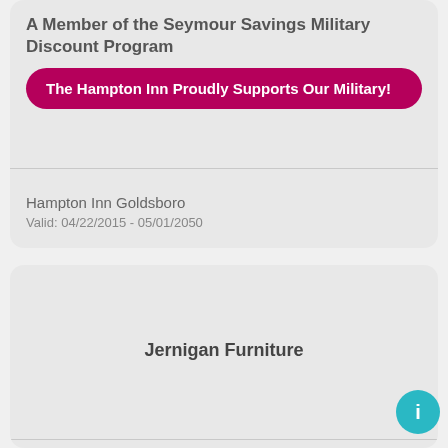A Member of the Seymour Savings Military Discount Program
The Hampton Inn Proudly Supports Our Military!
Hampton Inn Goldsboro
Valid: 04/22/2015 - 05/01/2050
Jernigan Furniture